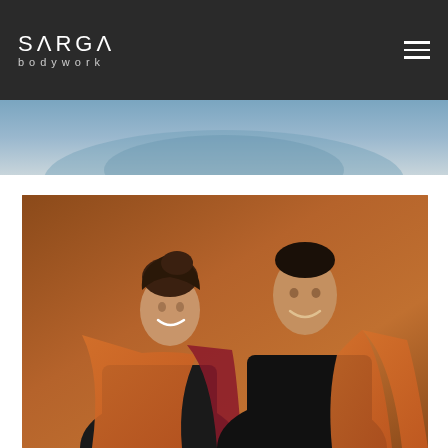SARGA bodywork
[Figure (photo): Partial blue-toned hero image strip at top of page]
[Figure (photo): A smiling woman and man posing together in front of a warm brown/orange background, both wearing orange fabric wraps over dark clothing]